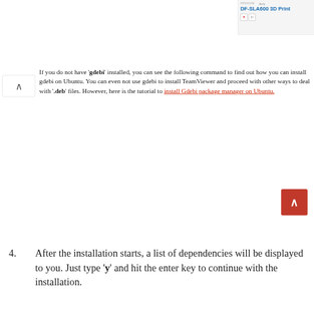[Figure (screenshot): Advertisement banner for defy DF-SLA600 3D Printer by INNOCORE, shown in top right corner with close and play controls.]
If you do not have 'gdebi' installed, you can see the following command to find out how you can install gdebi on Ubuntu. You can even not use gdebi to install TeamViewer and proceed with other ways to deal with '.deb' files. However, here is the tutorial to install Gdebi package manager on Ubuntu.
4. After the installation starts, a list of dependencies will be displayed to you. Just type 'y' and hit the enter key to continue with the installation.